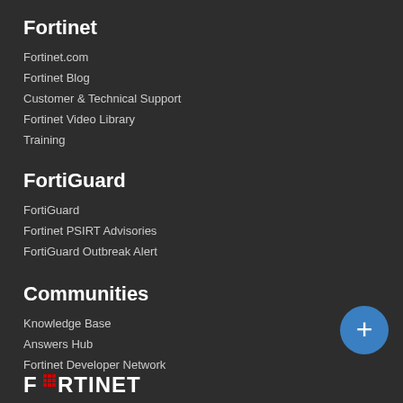Fortinet
Fortinet.com
Fortinet Blog
Customer & Technical Support
Fortinet Video Library
Training
FortiGuard
FortiGuard
Fortinet PSIRT Advisories
FortiGuard Outbreak Alert
Communities
Knowledge Base
Answers Hub
Fortinet Developer Network
[Figure (logo): Fortinet logo with red dot grid pattern replacing the 'O' in FORTINET, white text on dark background]